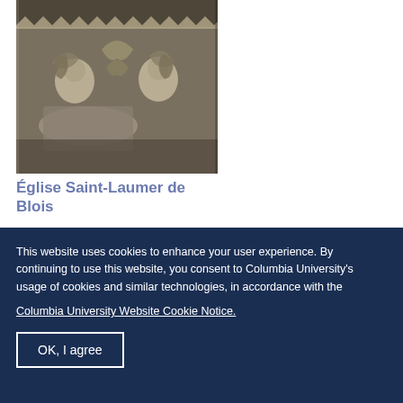[Figure (photo): Architectural detail photograph of carved stone pier capital with decorative figures, interior of Église Saint-Laumer de Blois]
Église Saint-Laumer de Blois
Interior, chevet, south aisle, pier capital
This website uses cookies to enhance your user experience. By continuing to use this website, you consent to Columbia University's usage of cookies and similar technologies, in accordance with the
Columbia University Website Cookie Notice.
OK, I agree